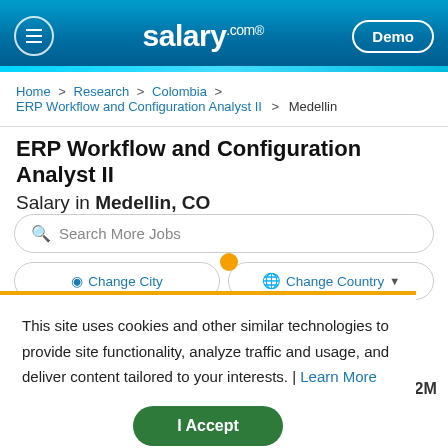salary.com — Demo
Home > Research > Colombia > ERP Workflow and Configuration Analyst II > Medellin
ERP Workflow and Configuration Analyst II Salary in Medellin, CO
Search More Jobs
Change City | Change Country
This site uses cookies and other similar technologies to provide site functionality, analyze traffic and usage, and deliver content tailored to your interests. | Learn More
I Accept